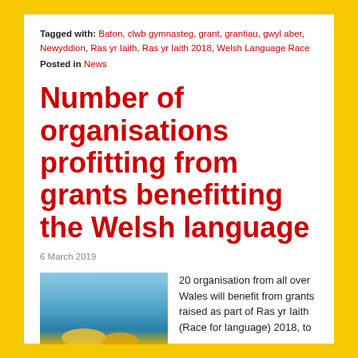Tagged with: Baton, clwb gymnasteg, grant, grantiau, gwyl aber, Newyddion, Ras yr Iaith, Ras yr Iaith 2018, Welsh Language Race
Posted in News
Number of organisations profitting from grants benefitting the Welsh language
6 March 2019
[Figure (photo): Photo showing sky gradient and partial view of outdoor scene, bottom portion cut off]
20 organisation from all over Wales will benefit from grants raised as part of Ras yr Iaith (Race for language) 2018, to